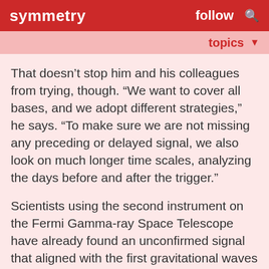symmetry   follow   🔍
topics ▼
That doesn’t stop him and his colleagues from trying, though. “We want to cover all bases, and we adopt different strategies,” he says. “To make sure we are not missing any preceding or delayed signal, we also look on much longer time scales, analyzing the days before and after the trigger.”
Scientists using the second instrument on the Fermi Gamma-ray Space Telescope have already found an unconfirmed signal that aligned with the first gravitational waves LIGO detected, says